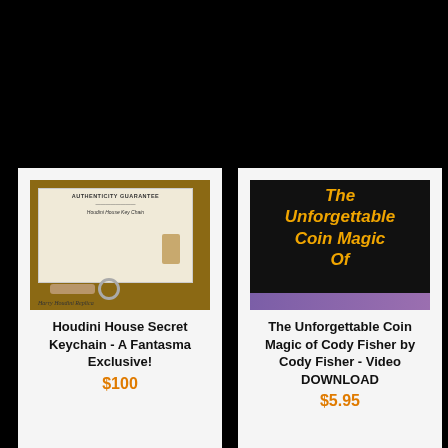[Figure (photo): Photo of a Houdini House Secret Keychain with authenticity guarantee certificate and a wooden/metal keychain with key ring on a wooden background]
Houdini House Secret Keychain - A Fantasma Exclusive!
$100
[Figure (photo): Book/DVD cover with black background and yellow italic text reading 'The Unforgettable Coin Magic Of' with a purple strip at the bottom]
The Unforgettable Coin Magic of Cody Fisher by Cody Fisher - Video DOWNLOAD
$5.95